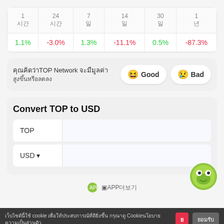| 1สัปดาห์ | 24ชั่วโมง | 7วัน | 14 วัน | 30วัน | 1 ปี |
| --- | --- | --- | --- | --- | --- |
| 1.1% | -3.0% | 1.3% | -11.1% | 0.5% | -87.3% |
คุณคิดว่าTOP Networkจะมีมูลค่า สูงขึ้นหรือลดลง
[Figure (other): Good and Bad sentiment buttons with emoji faces]
Convert TOP to USD
| TOP |  |
| USD ▾ |  |
เว็บไซต์นี้ใช้ cookie เพื่อให้ประสบการณ์ที่ดียิ่งขึ้น กรุณาดู Cookieนโยบายความเป็นส่วนตัว